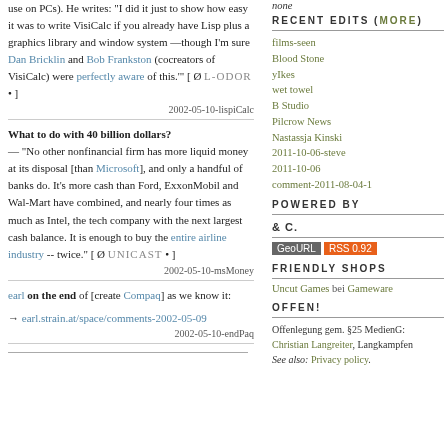use on PCs). He writes: "I did it just to show how easy it was to write VisiCalc if you already have Lisp plus a graphics library and window system —though I'm sure Dan Bricklin and Bob Frankston (cocreators of VisiCalc) were perfectly aware of this." [ Ø L-ODOR • ] 2002-05-10-lispiCalc
What to do with 40 billion dollars? — "No other nonfinancial firm has more liquid money at its disposal [than Microsoft], and only a handful of banks do. It's more cash than Ford, ExxonMobil and Wal-Mart have combined, and nearly four times as much as Intel, the tech company with the next largest cash balance. It is enough to buy the entire airline industry -- twice." [ Ø UNICAST • ] 2002-05-10-msMoney
earl on the end of [create Compaq] as we know it: → earl.strain.at/space/comments-2002-05-09 2002-05-10-endPaq
RECENT EDITS (MORE)
films-seen
Blood Stone
yIkes
wet towel
B Studio
Pilcrow News
Nastassja Kinski
2011-10-06-steve
2011-10-06
comment-2011-08-04-1
POWERED BY
& c.
GeoURL RSS 0.92
FRIENDLY SHOPS
Uncut Games bei Gameware
OFFEN!
Offenlegung gem. §25 MedienG: Christian Langreiter, Langkampfen See also: Privacy policy.